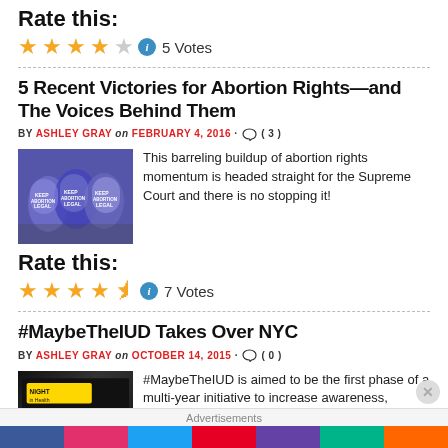Rate this:
★★★★☆ ⓘ 5 Votes
5 Recent Victories for Abortion Rights—and The Voices Behind Them
BY ASHLEY GRAY on FEBRUARY 4, 2016 · ( 3 )
[Figure (photo): Protesters holding blue signs reading 'KEEP ABORTION LEGAL' at a rally]
This barreling buildup of abortion rights momentum is headed straight for the Supreme Court and there is no stopping it!
Rate this:
★★★★½ ⓘ 7 Votes
#MaybeTheIUD Takes Over NYC
BY ASHLEY GRAY on OCTOBER 14, 2015 · ( 0 )
[Figure (photo): Dark poster with text about night health event]
#MaybeTheIUD is aimed to be the first phase of a multi-year initiative to increase awareness, access, and
Advertisements